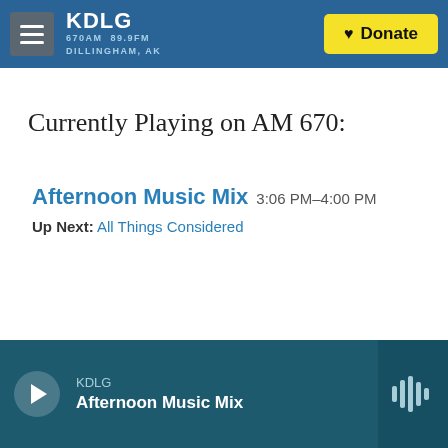KDLG 670AM 89.9FM DILLINGHAM, AK — Donate
Currently Playing on AM 670:
Afternoon Music Mix 3:06 PM–4:00 PM
Up Next: All Things Considered
KDLG Afternoon Music Mix (player bar)